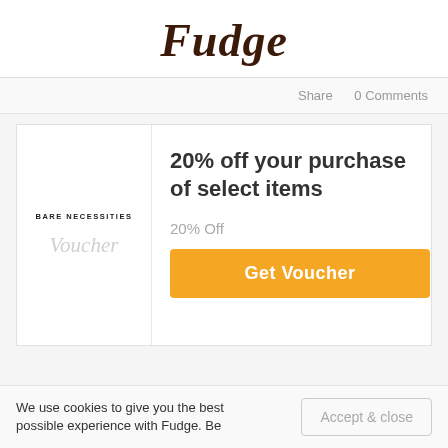Fudge
Share   0 Comments
BARE NECESSITIES
Voucher
20% off your purchase of select items
20% Off
Get Voucher
We use cookies to give you the best possible experience with Fudge. Be
Accept & close